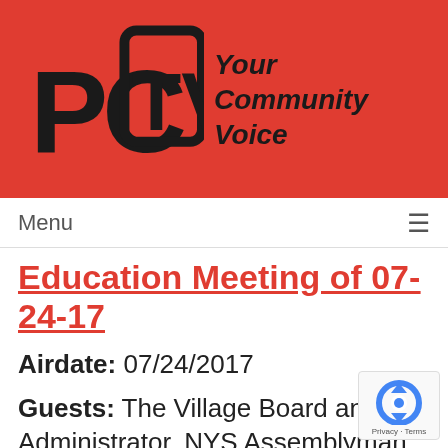[Figure (logo): PCTV logo with bold black letters PC and TV in a slight trapezoid shape on a red background, followed by italic text 'Your Community Voice']
Menu  ☰
Education Meeting of 07-24-17
Airdate: 07/24/2017
Guests: The Village Board and Administrator, NYS Assemblyman Tom Abinanti, Pleasantville